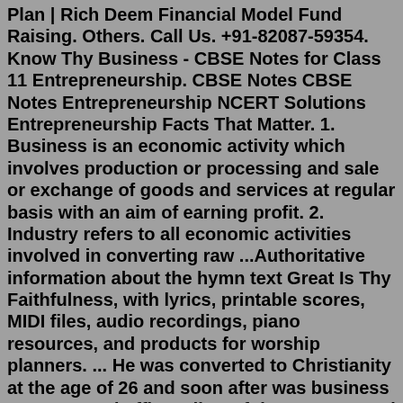Plan | Rich Deem Financial Model Fund Raising. Others. Call Us. +91-82087-59354. Know Thy Business - CBSE Notes for Class 11 Entrepreneurship. CBSE Notes CBSE Notes Entrepreneurship NCERT Solutions Entrepreneurship Facts That Matter. 1. Business is an economic activity which involves production or processing and sale or exchange of goods and services at regular basis with an aim of earning profit. 2. Industry refers to all economic activities involved in converting raw ...Authoritative information about the hymn text Great Is Thy Faithfulness, with lyrics, printable scores, MIDI files, audio recordings, piano resources, and products for worship planners. ... He was converted to Christianity at the age of 26 and soon after was business manager and office editor of the "Pentecostal Hearld" or Louisville, Ky. In ...This organization is not BBB accredited. Shoes in Battle Creek, MI. See BBB rating, reviews, complaints, & more.Note: Only personal attacks are removed, otherwise if it's just content you find offensive, you